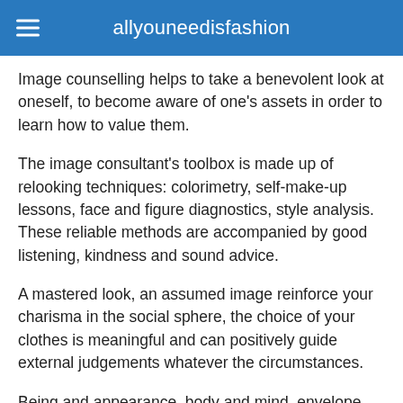allyouneedisfashion
Image counselling helps to take a benevolent look at oneself, to become aware of one's assets in order to learn how to value them.
The image consultant's toolbox is made up of relooking techniques: colorimetry, self-make-up lessons, face and figure diagnostics, style analysis. These reliable methods are accompanied by good listening, kindness and sound advice.
A mastered look, an assumed image reinforce your charisma in the social sphere, the choice of your clothes is meaningful and can positively guide external judgements whatever the circumstances.
Being and appearance, body and mind, envelope and content, these notions seem contradictory, and yet they are interwoven, reflected, complement and nourish each other.
The image is not as futile as it seems, appearance is the basis of